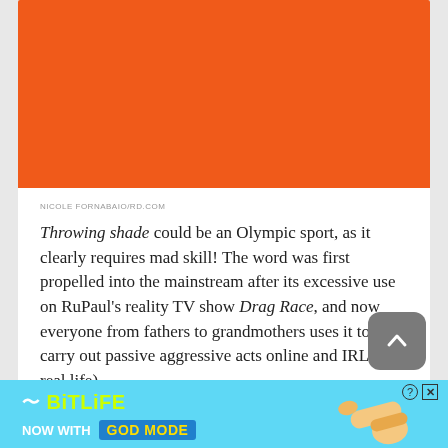[Figure (photo): Orange/red-orange solid color block, appears to be a cropped image background or banner area]
NICOLE FORNABAIO/RD.COM
Throwing shade could be an Olympic sport, as it clearly requires mad skill! The word was first propelled into the mainstream after its excessive use on RuPaul's reality TV show Drag Race, and now everyone from fathers to grandmothers uses it to carry out passive aggressive acts online and IRL (in real life).
[Figure (screenshot): BitLife advertisement banner with cyan background, BitLife logo in lime green, 'NOW WITH GOD MODE' text, and hand pointing finger illustration]